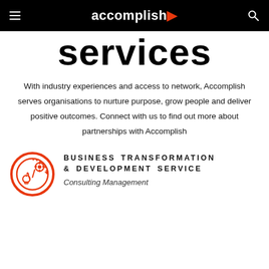accomplish
services
With industry experiences and access to network, Accomplish serves organisations to nurture purpose, grow people and deliver positive outcomes. Connect with us to find out more about partnerships with Accomplish
[Figure (illustration): Orange circular icon with gear/lightbulb and arrows, representing Business Transformation & Development Service]
Business Transformation & Development Service
Consulting Management